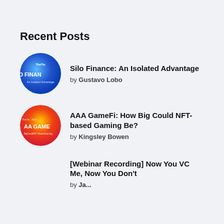Recent Posts
Silo Finance: An Isolated Advantage by Gustavo Lobo
AAA GameFi: How Big Could NFT-based Gaming Be? by Kingsley Bowen
[Webinar Recording] Now You VC Me, Now You Don't